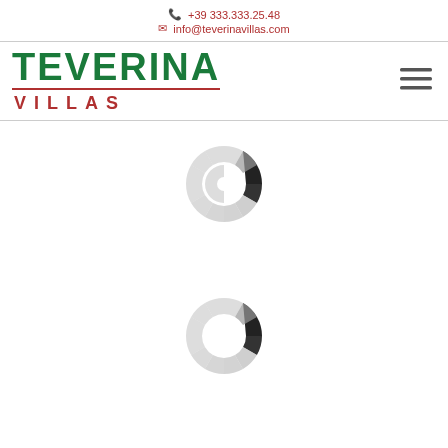+39 333.333.25.48  info@teverinavillas.com
[Figure (logo): Teverina Villas logo with green TEVERINA text and dark red VILLAS text with underline, hamburger menu icon on the right]
[Figure (other): Loading spinner icon - circular dashed ring with dark segment at top right, gray segments elsewhere]
[Figure (other): Loading spinner icon - circular dashed ring with dark segment at top right, gray segments elsewhere (second instance)]